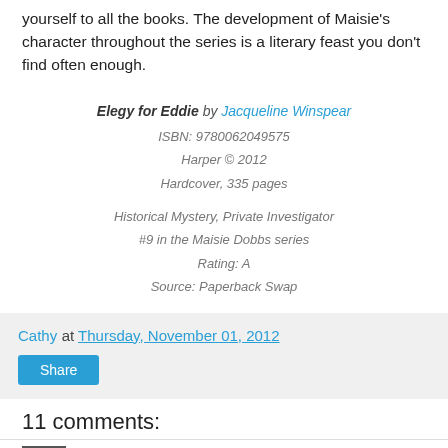yourself to all the books. The development of Maisie's character throughout the series is a literary feast you don't find often enough.
Elegy for Eddie by Jacqueline Winspear
ISBN: 9780062049575
Harper © 2012
Hardcover, 335 pages

Historical Mystery, Private Investigator
#9 in the Maisie Dobbs series
Rating: A
Source: Paperback Swap
Cathy at Thursday, November 01, 2012
Share
11 comments:
Kimberlee, November 1, 2012 at 12:29 AM